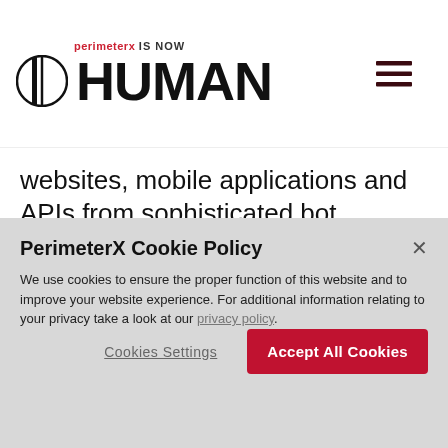[Figure (logo): PerimeterX is now HUMAN logo with circular shield icon and hamburger menu]
websites, mobile applications and APIs from sophisticated bot attacks.
[Figure (infographic): Share row with Twitter, LinkedIn, Facebook, and Email icons]
PerimeterX Cookie Policy
We use cookies to ensure the proper function of this website and to improve your website experience. For additional information relating to your privacy take a look at our privacy policy.
Cookies Settings  Accept All Cookies